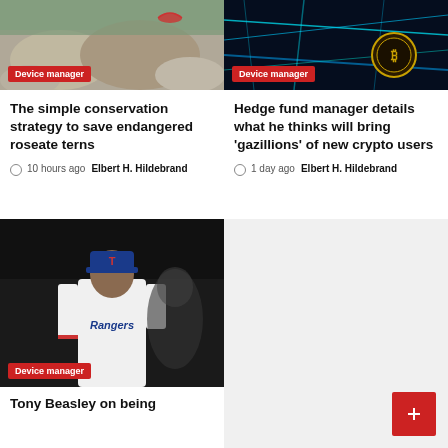[Figure (photo): Nature/wildlife photo showing roseate terns environment, rocky terrain]
Device manager
The simple conservation strategy to save endangered roseate terns
10 hours ago  Elbert H. Hildebrand
[Figure (photo): Crypto/finance themed dark photo with neon blue lines and Bitcoin coin]
Device manager
Hedge fund manager details what he thinks will bring 'gazillions' of new crypto users
1 day ago  Elbert H. Hildebrand
[Figure (photo): Baseball player in Texas Rangers white uniform]
Device manager
Tony Beasley on being